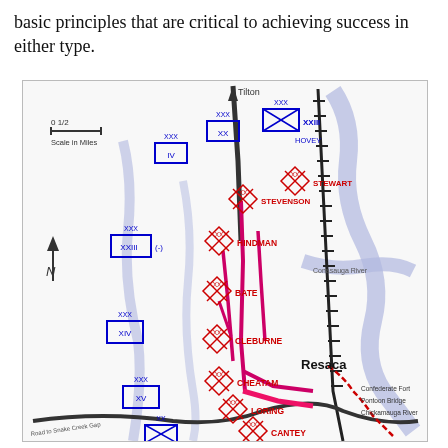basic principles that are critical to achieving success in either type.
[Figure (map): Military tactical map of the Battle of Resaca showing Union (blue) and Confederate (red) unit positions. Units labeled include HOVEY, STEWART, STEVENSON, HINDMAN, BATE, CLEBURNE, CHEATAM, LORING, CANTEY with corps designations (XX, XXX, XXII, XIV, XV, XVI, IV). Shows Chickamauga River, Conasauga River, roads, and the town of Resaca. Scale bar shows 0 to 1/2 miles. North arrow included.]